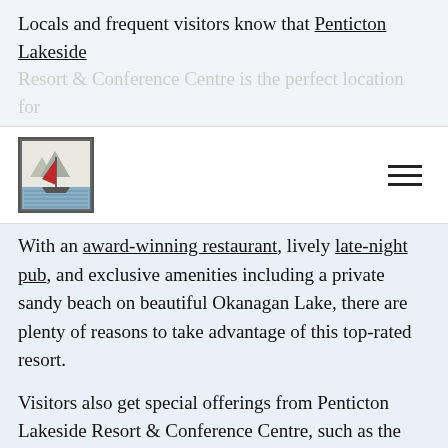Locals and frequent visitors know that Penticton Lakeside Resort & Conference Centre is the perfect location for…
[Figure (logo): Penticton Lakeside Resort logo: a red sailboat on water with mountains, inside a rectangular border]
With an award-winning restaurant, lively late-night pub, and exclusive amenities including a private sandy beach on beautiful Okanagan Lake, there are plenty of reasons to take advantage of this top-rated resort.
Visitors also get special offerings from Penticton Lakeside Resort & Conference Centre, such as the Naramata Wine Tour Package, which includes accommodations, bus transportation, and a full-day wine tour by Top Cat Tours. Check out other great hotel deals in Penticton by visiting our Deals page.